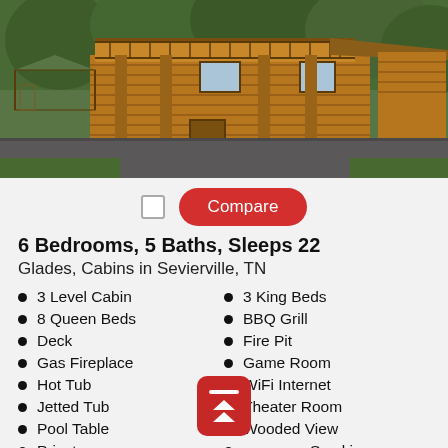[Figure (photo): Large log cabin with multiple decks, balconies, gazebo, and wooded surroundings. Multi-story wooden structure with driveway.]
Compare (with checkbox)
6 Bedrooms, 5 Baths, Sleeps 22
Glades, Cabins in Sevierville, TN
3 Level Cabin
3 King Beds
8 Queen Beds
BBQ Grill
Deck
Fire Pit
Gas Fireplace
Game Room
Hot Tub
WiFi Internet
Jetted Tub
Theater Room
Pool Table
Wooded View
Private
No Smoking
Washer/Dryer